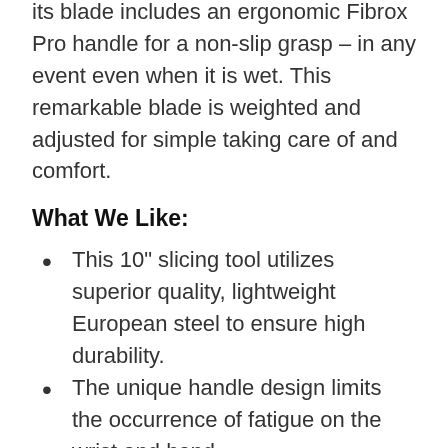its blade includes an ergonomic Fibrox Pro handle for a non-slip grasp – in any event even when it is wet. This remarkable blade is weighted and adjusted for simple taking care of and comfort.
What We Like:
This 10" slicing tool utilizes superior quality, lightweight European steel to ensure high durability.
The unique handle design limits the occurrence of fatigue on the wrist and hand.
Perfect butchering is employed for